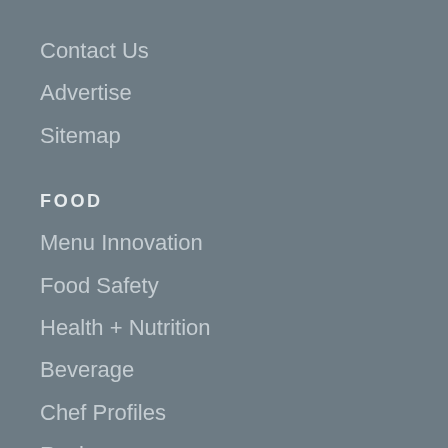Contact Us
Advertise
Sitemap
FOOD
Menu Innovation
Food Safety
Health + Nutrition
Beverage
Chef Profiles
Recipes
GROWTH